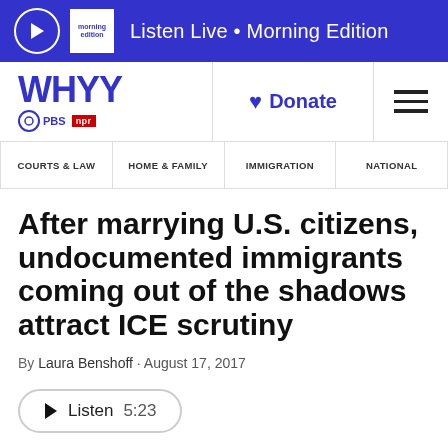Listen Live • Morning Edition
[Figure (logo): WHYY PBS NPR logo with Donate button and hamburger menu]
COURTS & LAW | HOME & FAMILY | IMMIGRATION | NATIONAL
After marrying U.S. citizens, undocumented immigrants coming out of the shadows attract ICE scrutiny
By Laura Benshoff · August 17, 2017
Listen 5:23